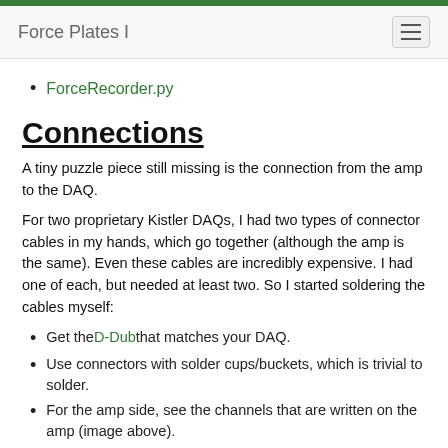Force Plates I
ForceRecorder.py
Connections
A tiny puzzle piece still missing is the connection from the amp to the DAQ.
For two proprietary Kistler DAQs, I had two types of connector cables in my hands, which go together (although the amp is the same). Even these cables are incredibly expensive. I had one of each, but needed at least two. So I started soldering the cables myself:
Get the D-Dub that matches your DAQ.
Use connectors with solder cups/buckets, which is trivial to solder.
For the amp side, see the channels that are written on the amp (image above).
For the other side, you can try to follow the schemes